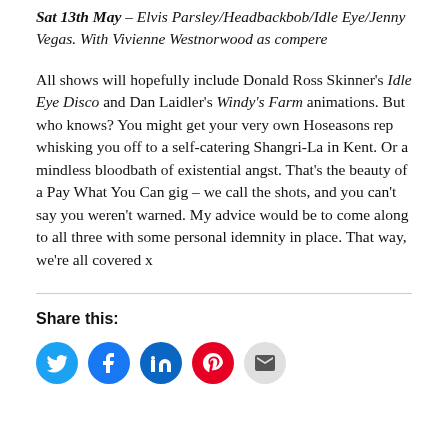Sat 13th May – Elvis Parsley/Headbackbob/Idle Eye/Jenny Vegas. With Vivienne Westnorwood as compere
All shows will hopefully include Donald Ross Skinner's Idle Eye Disco and Dan Laidler's Windy's Farm animations. But who knows? You might get your very own Hoseasons rep whisking you off to a self-catering Shangri-La in Kent. Or a mindless bloodbath of existential angst. That's the beauty of a Pay What You Can gig – we call the shots, and you can't say you weren't warned. My advice would be to come along to all three with some personal idemnity in place. That way, we're all covered x
Share this:
[Figure (illustration): Row of social media share icons: Twitter (blue bird), Facebook (blue f), LinkedIn (blue in), Pinterest (red P), Email (grey envelope)]